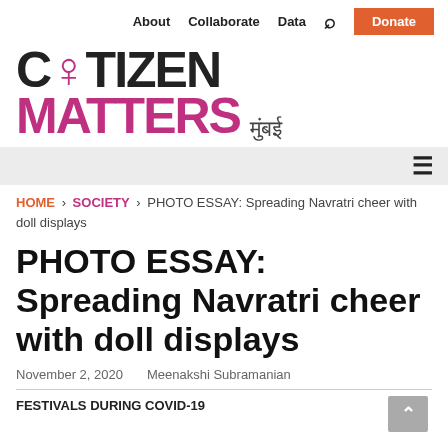About   Collaborate   Data   🔍   Donate
CITIZEN MATTERS मुंबई
≡
HOME › SOCIETY › PHOTO ESSAY: Spreading Navratri cheer with doll displays
PHOTO ESSAY: Spreading Navratri cheer with doll displays
November 2, 2020   Meenakshi Subramanian
FESTIVALS DURING COVID-19